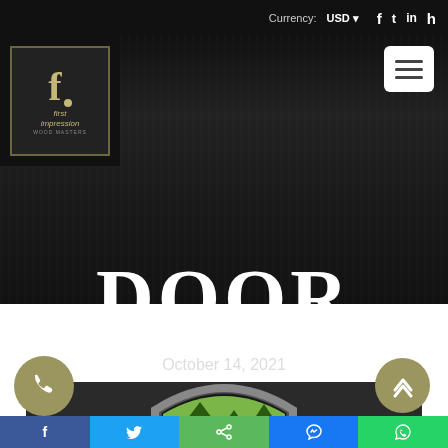Currency: USD
[Figure (logo): First Impression Wood Masters logo - stylized F with dot in dark box with gold border]
DOOR
October 14, 2021
[Figure (photo): Dark textured wood background with arched door visible at bottom]
Social share bar: Facebook, Twitter, Share, Messenger, WhatsApp